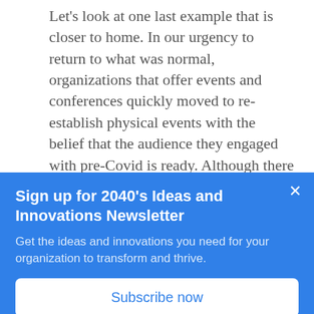Let's look at one last example that is closer to home. In our urgency to return to what was normal, organizations that offer events and conferences quickly moved to re-establish physical events with the belief that the audience they engaged with pre-Covid is ready. Although there have been some examples of success, no organization has been able to attract the number of attendees it once had. Again, connect the dots: post-Covid, people have reassessed how they spend their time and how much time they are
Sign up for 2040's Ideas and Innovations Newsletter
Get the ideas and innovations you need for your organization to transform and thrive.
Subscribe now